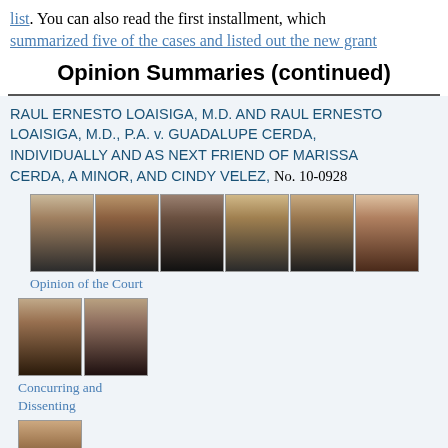list. You can also read the first installment, which summarized five of the cases and listed out the new grant
Opinion Summaries (continued)
RAUL ERNESTO LOAISIGA, M.D. AND RAUL ERNESTO LOAISIGA, M.D., P.A. v. GUADALUPE CERDA, INDIVIDUALLY AND AS NEXT FRIEND OF MARISSA CERDA, A MINOR, AND CINDY VELEZ, No. 10-0928
[Figure (photo): Row of six judge portrait photos]
Opinion of the Court
[Figure (photo): Row of two judge portrait photos]
Concurring and Dissenting
[Figure (photo): Single judge portrait photo (partial)]